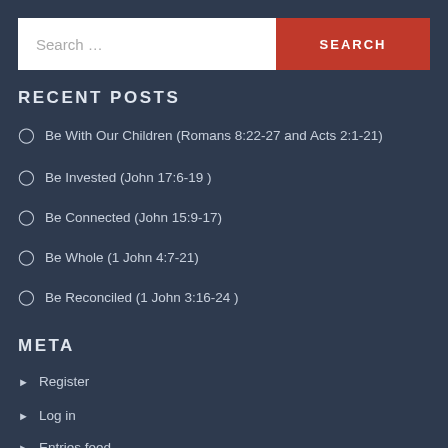RECENT POSTS
Be With Our Children (Romans 8:22-27 and Acts 2:1-21)
Be Invested (John 17:6-19 )
Be Connected (John 15:9-17)
Be Whole (1 John 4:7-21)
Be Reconciled (1 John 3:16-24 )
META
Register
Log in
Entries feed